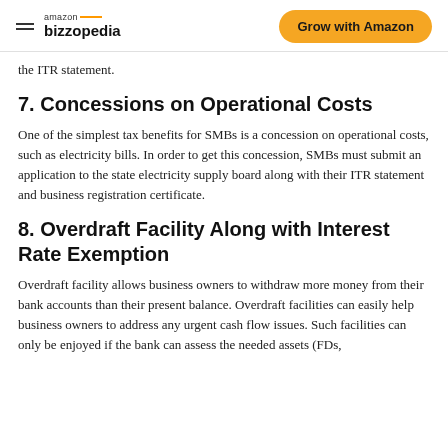amazon bizzopedia | Grow with Amazon
the ITR statement.
7. Concessions on Operational Costs
One of the simplest tax benefits for SMBs is a concession on operational costs, such as electricity bills. In order to get this concession, SMBs must submit an application to the state electricity supply board along with their ITR statement and business registration certificate.
8. Overdraft Facility Along with Interest Rate Exemption
Overdraft facility allows business owners to withdraw more money from their bank accounts than their present balance. Overdraft facilities can easily help business owners to address any urgent cash flow issues. Such facilities can only be enjoyed if the bank can assess the needed assets (FDs,